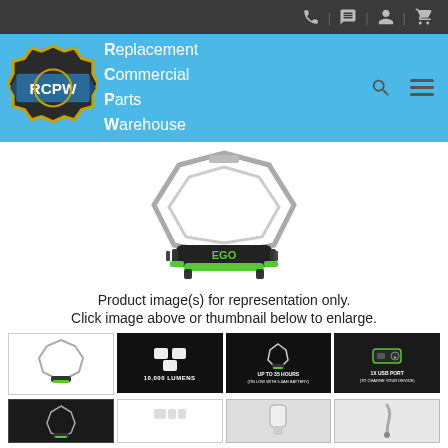RCPW - Replacement Commercial Parts Warehouse
[Figure (photo): EGO brand portable work light/flood light with green and black base, hexagonal metal frame, shown from front-bottom angle]
Product image(s) for representation only.
Click image above or thumbnail below to enlarge.
[Figure (photo): Four thumbnail images of EGO work light: 1) Product front view on white bg, 2) Black bg with '10,000 LUMENS' text, 3) Black bg with 'UP TO 35 HOURS (ON LOW WITH 5.0AH BATTERY)', 4) Green/black bg with '1X USB PORT (TO CHARGE YOUR DEVICE)']
[Figure (photo): Second row of four partial thumbnails showing additional product views]